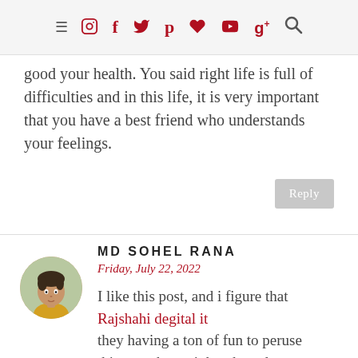Navigation bar with hamburger menu, social icons (Instagram, Facebook, Twitter, Pinterest, heart, YouTube, Google+), and search icon
good your health. You said right life is full of difficulties and in this life, it is very important that you have a best friend who understands your feelings.
Reply
MD SOHEL RANA
Friday, July 22, 2022
I like this post, and i figure that Rajshahi degital it they having a ton of fun to peruse this post,they might take a decent